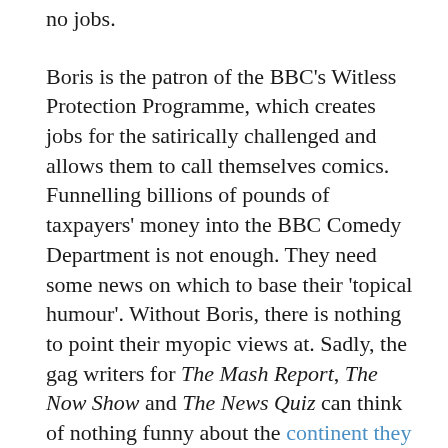no jobs.
Boris is the patron of the BBC's Witless Protection Programme, which creates jobs for the satirically challenged and allows them to call themselves comics. Funnelling billions of pounds of taxpayers' money into the BBC Comedy Department is not enough. They need some news on which to base their 'topical humour'. Without Boris, there is nothing to point their myopic views at. Sadly, the gag writers for The Mash Report, The Now Show and The News Quiz can think of nothing funny about the continent they profess to be passionate about.
Boris, by contrast, lives a full life, too full a life it turns out.  But sneering at his achievements creates employment for society's Nish Kumars.